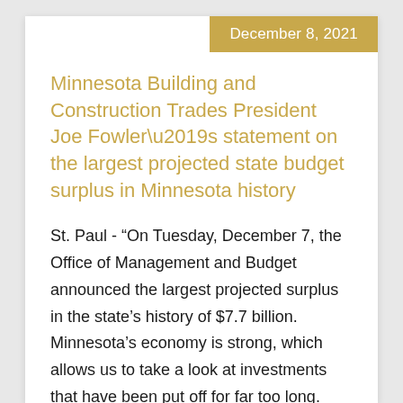December 8, 2021
Minnesota Building and Construction Trades President Joe Fowler’s statement on the largest projected state budget surplus in Minnesota history
St. Paul - “On Tuesday, December 7, the Office of Management and Budget announced the largest projected surplus in the state’s history of $7.7 billion. Minnesota’s economy is strong, which allows us to take a look at investments that have been put off for far too long. Investments in Minnesota’s roads, bridges and wastewater treatment have taken a back seat to other state